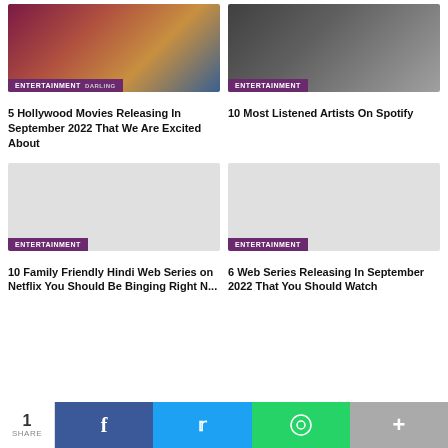[Figure (photo): Movie poster collage for Hollywood movies releasing September 2022 with ENTERTAINMENT tag overlay]
5 Hollywood Movies Releasing In September 2022 That We Are Excited About
[Figure (photo): Photo of musicians/artists for Spotify article with ENTERTAINMENT tag overlay]
10 Most Listened Artists On Spotify
[Figure (photo): Placeholder image for Hindi Web Series article with ENTERTAINMENT tag overlay]
10 Family Friendly Hindi Web Series on Netflix You Should Be Binging Right Now
[Figure (photo): Placeholder image for Web Series September 2022 article with ENTERTAINMENT tag overlay]
6 Web Series Releasing In September 2022 That You Should Watch
1 SHARE  [Facebook] [Twitter] [WhatsApp] [+]